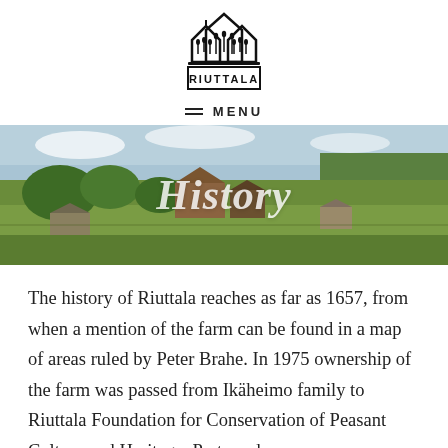[Figure (logo): Riuttala logo: stylized barn/house shapes with grain motifs and the word RIUTTALA below]
≡  MENU
[Figure (photo): Aerial/landscape photo of the Riuttala farm estate with historic wooden buildings, green fields and trees, with 'History' overlaid in white italic text]
The history of Riuttala reaches as far as 1657, from when a mention of the farm can be found in a map of areas ruled by Peter Brahe. In 1975 ownership of the farm was passed from Ikäheimo family to Riuttala Foundation for Conservation of Peasant Culture and Heritage. Parts and...